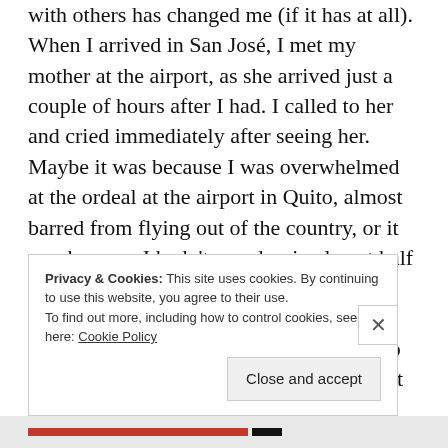with others has changed me (if it has at all). When I arrived in San José, I met my mother at the airport, as she arrived just a couple of hours after I had. I called to her and cried immediately after seeing her. Maybe it was because I was overwhelmed at the ordeal at the airport in Quito, almost barred from flying out of the country, or it was because I hadn't seen her in almost half a year. Maybe it was because I knew I finally had a break from the backpacker lifestyle, a reprieve, an opportunity to step into a mini-vacation. In hindsight I think it was a combination of the three. I was curious before my mother arrived how it would
Privacy & Cookies: This site uses cookies. By continuing to use this website, you agree to their use. To find out more, including how to control cookies, see here: Cookie Policy
Close and accept